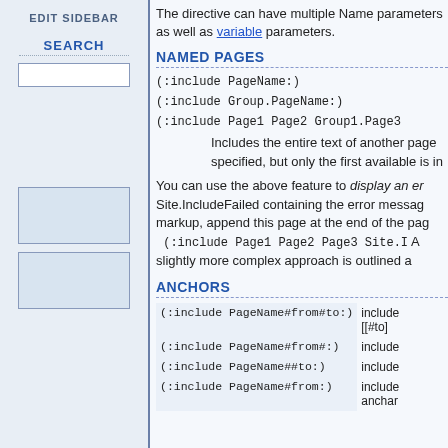EDIT SIDEBAR
SEARCH
The directive can have multiple Name parameters as well as variable parameters.
NAMED PAGES
(:include PageName:)
(:include Group.PageName:)
(:include Page1 Page2 Group1.Page3
Includes the entire text of another page specified, but only the first available is included.
You can use the above feature to display an error message by creating a page Site.IncludeFailed containing the error message markup, append this page at the end of the page list:
(:include Page1 Page2 Page3 Site.I...
A slightly more complex approach is outlined a...
ANCHORS
| Syntax | Description |
| --- | --- |
| (:include PageName#from#to:) | include ... [[#to]...] |
| (:include PageName#from#:) | include ... |
| (:include PageName##to:) | include ... |
| (:include PageName#from:) | include ... anchor... |